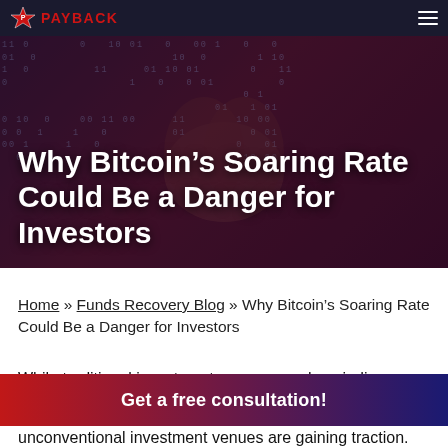PAYBACK
[Figure (photo): Dark hero image with binary code pattern overlay and hands in background, with red/dark tint]
Why Bitcoin’s Soaring Rate Could Be a Danger for Investors
Home » Funds Recovery Blog » Why Bitcoin’s Soaring Rate Could Be a Danger for Investors
While traditional investment avenues such as indices, unconventional investment venues are gaining traction.
Get a free consultation!